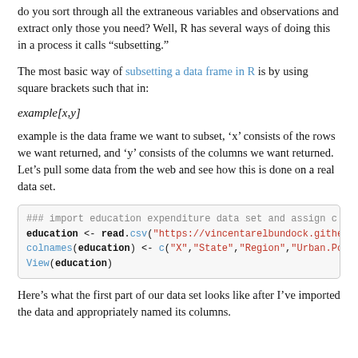do you sort through all the extraneous variables and observations and extract only those you need? Well, R has several ways of doing this in a process it calls “subsetting.”
The most basic way of subsetting a data frame in R is by using square brackets such that in:
example is the data frame we want to subset, ‘x’ consists of the rows we want returned, and ‘y’ consists of the columns we want returned. Let’s pull some data from the web and see how this is done on a real data set.
### import education expenditure data set and assign c
education <- read.csv("https://vincentarelbundock.githe
colnames(education) <- c("X","State","Region","Urban.Po
View(education)
Here’s what the first part of our data set looks like after I’ve imported the data and appropriately named its columns.